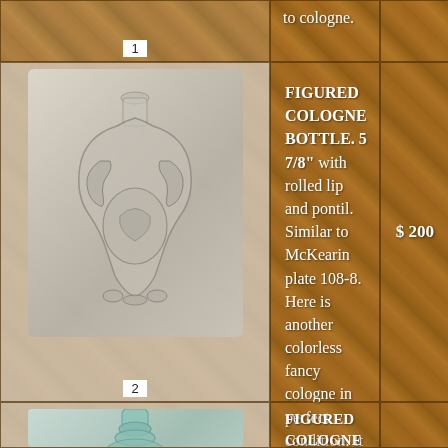to cologne.
[Figure (photo): Clear colorless figured cologne bottle with ornate serpentine/figural design, showing twisted decorative form. Item number 1.]
FIGURED COLOGNE BOTTLE. 5 7/8" with rolled lip and pontil. Similar to McKearin plate 108-8. Here is another colorless fancy cologne in perfect condition. It is known that George McKearin had a number of these, and it's obvious why. They are very early beautiful bottles with elaborate design. This one is a grade 10, Attic Mint.
$ 200
[Figure (photo): Aqua/teal colored figured cologne bottle with bulbous body and rounded collar. Partial view, item number 2 visible above.]
FIGURED COLOGNE BOTTLE. 5" with rolled lip and pontil. Similar to McKearin plate 107-3. Here is another beautiful cologne, this